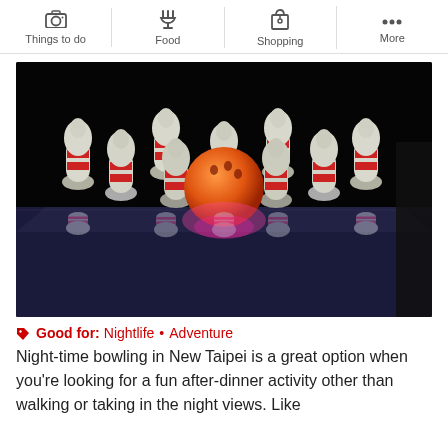Things to do | Food | Shopping | More
[Figure (photo): Bowling pins arranged on a lane with an orange bowling ball in the foreground, with reflections visible on the polished dark lane surface. Black background.]
Good for: Nightlife • Adventure
Night-time bowling in New Taipei is a great option when you're looking for a fun after-dinner activity other than walking or taking in the night views. Like